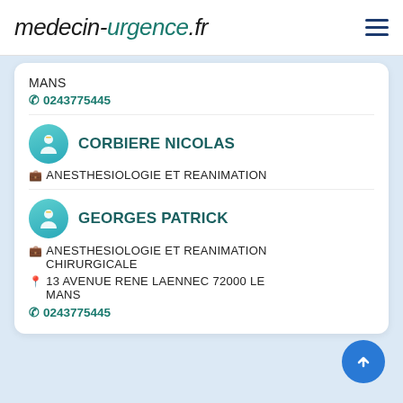medecin-urgence.fr
MANS
0243775445
CORBIERE NICOLAS
ANESTHESIOLOGIE ET REANIMATION
GEORGES PATRICK
ANESTHESIOLOGIE ET REANIMATION CHIRURGICALE
13 AVENUE RENE LAENNEC 72000 LE MANS
0243775445